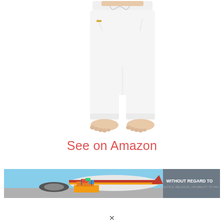[Figure (photo): White drawstring harem/yoga pants worn by a person, showing torso to feet, white background]
See on Amazon
[Figure (photo): Wide banner advertisement showing cargo being loaded onto a Southwest Airlines airplane, with text 'WITHOUT REGARD TO POLITICS, RELIGION, OR ABILITY TO PAY']
X